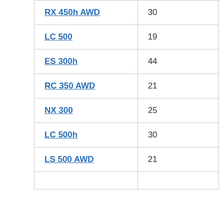| RX 450h AWD | 30 |
| LC 500 | 19 |
| ES 300h | 44 |
| RC 350 AWD | 21 |
| NX 300 | 25 |
| LC 500h | 30 |
| LS 500 AWD | 21 |